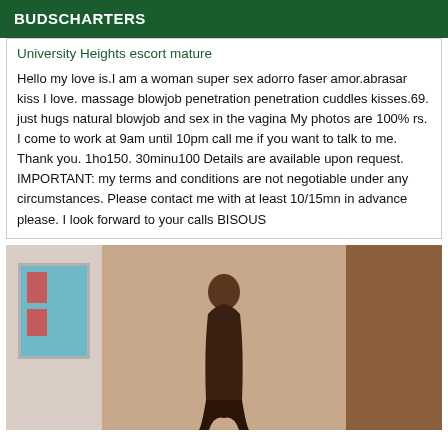BUDSCHARTERS
University Heights escort mature
Hello my love is.I am a woman super sex adorro faser amor.abrasar kiss I love. massage blowjob penetration penetration cuddles kisses.69. just hugs natural blowjob and sex in the vagina My photos are 100% rs. I come to work at 9am until 10pm call me if you want to talk to me. Thank you. 1ho150. 30minu100 Details are available upon request. IMPORTANT: my terms and conditions are not negotiable under any circumstances. Please contact me with at least 10/15mn in advance please. I look forward to your calls BISOUS
[Figure (photo): A person photographed indoors near a wall with artwork and a wooden door/panel visible on the right.]